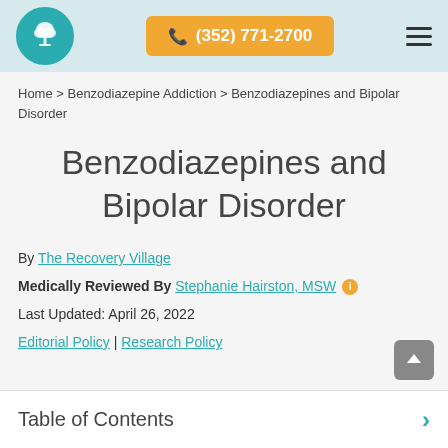(352) 771-2700
Home > Benzodiazepine Addiction > Benzodiazepines and Bipolar Disorder
Benzodiazepines and Bipolar Disorder
By The Recovery Village
Medically Reviewed By Stephanie Hairston, MSW
Last Updated: April 26, 2022
Editorial Policy | Research Policy
Table of Contents